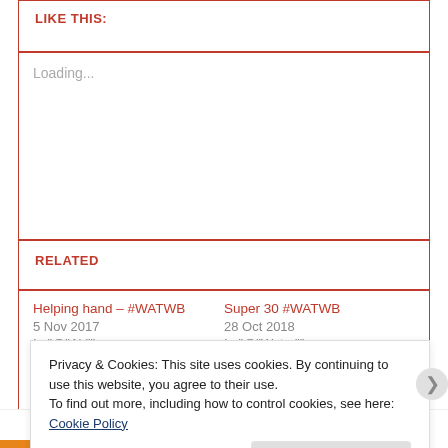LIKE THIS:
Loading...
RELATED
Helping hand – #WATWB
5 Nov 2017
In "@"Air""
Super 30 #WATWB
28 Oct 2018
In "@"Water""
That fatherly face – #WATWB
26 Mar 2018
In "@"Water"
Privacy & Cookies: This site uses cookies. By continuing to use this website, you agree to their use.
To find out more, including how to control cookies, see here: Cookie Policy
Close and accept